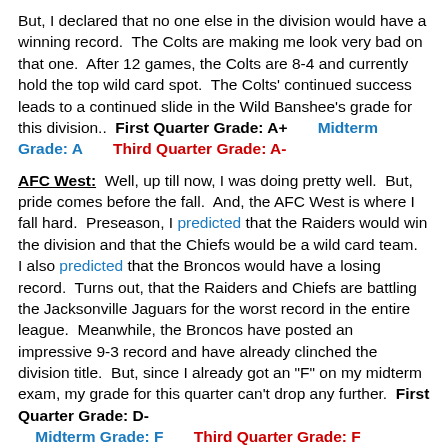But, I declared that no one else in the division would have a winning record. The Colts are making me look very bad on that one. After 12 games, the Colts are 8-4 and currently hold the top wild card spot. The Colts' continued success leads to a continued slide in the Wild Banshee's grade for this division.. First Quarter Grade: A+ Midterm Grade: A Third Quarter Grade: A-
AFC West: Well, up till now, I was doing pretty well. But, pride comes before the fall. And, the AFC West is where I fall hard. Preseason, I predicted that the Raiders would win the division and that the Chiefs would be a wild card team. I also predicted that the Broncos would have a losing record. Turns out, that the Raiders and Chiefs are battling the Jacksonville Jaguars for the worst record in the entire league. Meanwhile, the Broncos have posted an impressive 9-3 record and have already clinched the division title. But, since I already got an "F" on my midterm exam, my grade for this quarter can't drop any further. First Quarter Grade: D- Midterm Grade: F Third Quarter Grade: F